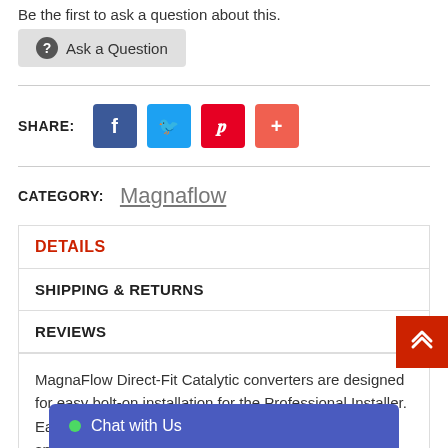Be the first to ask a question about this.
[Figure (other): Ask a Question button with question mark icon]
[Figure (other): Social share buttons: Facebook, Twitter, Pinterest, and plus button]
CATEGORY: Magnaflow
DETAILS
SHIPPING & RETURNS
REVIEWS
MagnaFlow Direct-Fit Catalytic converters are designed for easy bolt-on installation for the Professional Installer. Each is designed to exact the original equipment specifications. While the majority off the Direct-Fit Catalytic converter products do not require welding; cutting or bending; limited applications installation
[Figure (other): Chat with Us bar at bottom of page]
[Figure (other): Back to top red button with double chevron up]